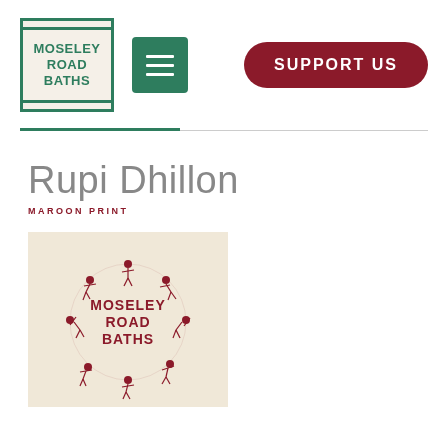[Figure (logo): Moseley Road Baths logo: green bordered box with text MOSELEY ROAD BATHS]
[Figure (other): Hamburger menu button, green square with three white horizontal lines]
SUPPORT US
Rupi Dhillon
MAROON PRINT
[Figure (illustration): Book cover with beige background showing figures arranged in a circle (swimmers/divers), with text MOSELEY ROAD BATHS in maroon in the center]